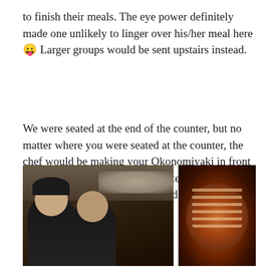to finish their meals. The eye power definitely made one unlikely to linger over his/her meal here 😛 Larger groups would be sent upstairs instead.
We were seated at the end of the counter, but no matter where you were seated at the counter, the chef would be making your Okonomiyaki in front of you. Everyone was looking intently at their food being prepared 😛 We could not help but salivate, as we watched 😮
[Figure (photo): Two chefs in black clothing and caps preparing food at a restaurant counter/teppan grill]
[Figure (photo): Okonomiyaki (Japanese savory pancake) cooking on a teppan iron griddle, topped with sliced fillings]